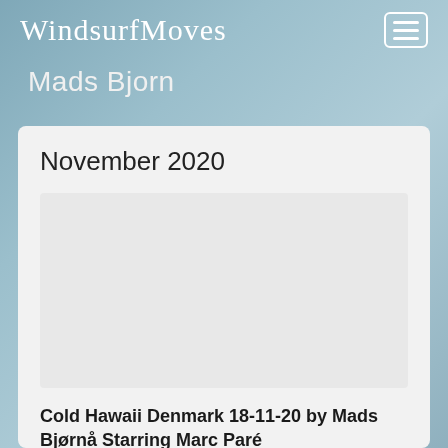WindsurfMoves
Mads Bjorn
November 2020
[Figure (photo): Placeholder/empty image area within card]
Cold Hawaii Denmark 18-11-20 by Mads Bjørnå Starring Marc Paré